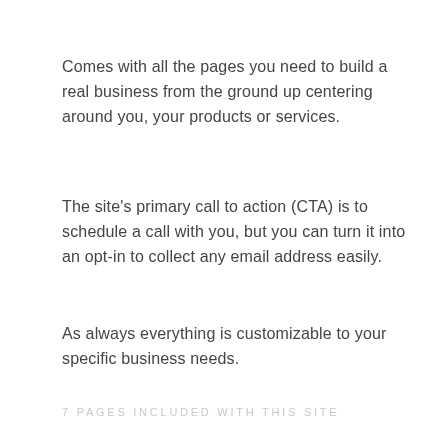Comes with all the pages you need to build a real business from the ground up centering around you, your products or services.
The site's primary call to action (CTA) is to schedule a call with you, but you can turn it into an opt-in to collect any email address easily.
As always everything is customizable to your specific business needs.
7 PAGES INCLUDED WITH THIS SITE